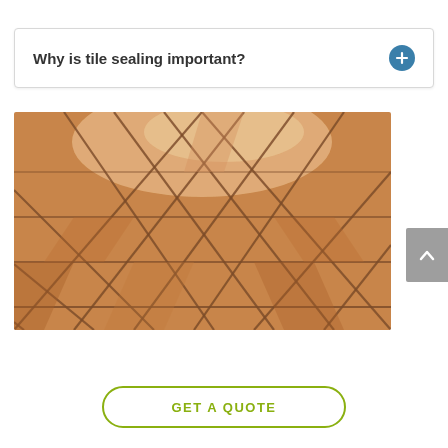Why is tile sealing important?
[Figure (photo): Close-up perspective view of terracotta/ceramic floor tiles with grout lines laid diagonally, warm orange-brown tones with light reflection]
GET A QUOTE